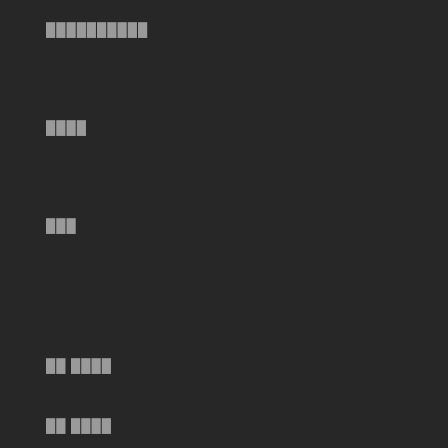██████████
████
███
██ ████
██ ████